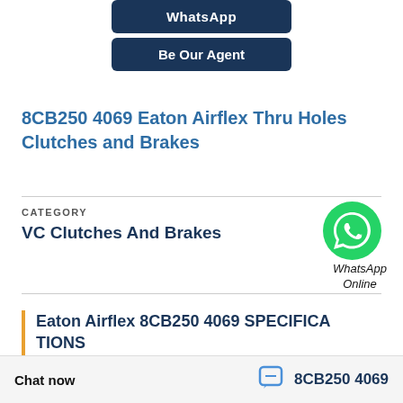WhatsApp
Be Our Agent
8CB250 4069 Eaton Airflex Thru Holes Clutches and Brakes
CATEGORY
VC Clutches And Brakes
[Figure (logo): Green WhatsApp phone icon circle with text 'WhatsApp Online' below]
Eaton Airflex 8CB250 4069 SPECIFICATIONS
Brand Name:
Eaton Airflex
Chat now
8CB250 4069